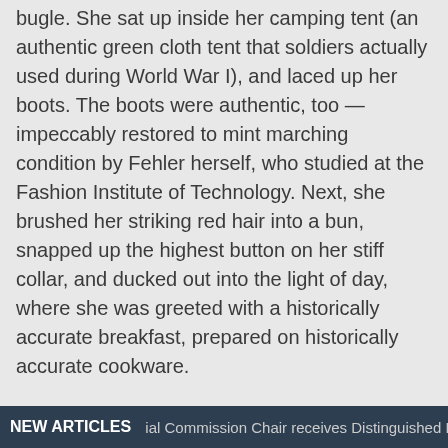bugle. She sat up inside her camping tent (an authentic green cloth tent that soldiers actually used during World War I), and laced up her boots. The boots were authentic, too — impeccably restored to mint marching condition by Fehler herself, who studied at the Fashion Institute of Technology. Next, she brushed her striking red hair into a bun, snapped up the highest button on her stiff collar, and ducked out into the light of day, where she was greeted with a historically accurate breakfast, prepared on historically accurate cookware.
The event was Camp Doughboy — a three-day campout for living historians that also welcomed more than 3,000 curious visitors into its midst each day. Even the location had historical resonance: Governors Island (a 15-minute ferry ride from the lower tip of Manhattan) served as an active military base during WWI. Today, the site is cared for by the Trust for Governors Island, and Camp
NEW ARTICLES   ial Commission Chair receives Distinguished P